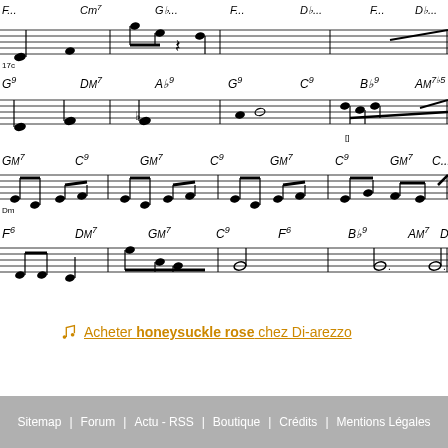[Figure (illustration): Sheet music notation showing multiple measures with chord symbols including G9, Dm7, Ab9, G9, C9, Bb9, Am7b5, Gm7, C9, F6, Bb9, Am7 across four staves with musical notes, beams, and other notation markings]
🎵 Acheter honeysuckle rose chez Di-arezzo
Sitemap | Forum | Actu - RSS | Boutique | Crédits | Mentions Légales